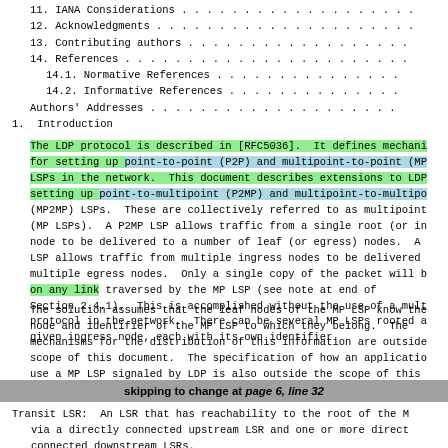11. IANA Considerations . . . . . . . . . . . . . . . . . .
12. Acknowledgments . . . . . . . . . . . . . . . . . . . .
13. Contributing authors . . . . . . . . . . . . . . . . .
14. References . . . . . . . . . . . . . . . . . . . . . .
14.1. Normative References . . . . . . . . . . . . . . .
14.2. Informative References . . . . . . . . . . . . . .
Authors' Addresses . . . . . . . . . . . . . . . . . . .
1.  Introduction
The LDP protocol is described in [RFC5036].  It defines mechani for setting up point-to-point (P2P) and multipoint-to-point (MP LSPs in the network.  This document describes extensions to LDP setting up point-to-multipoint (P2MP) and multipoint-to-multipo (MP2MP) LSPs.  These are collectively referred to as multipoint (MP LSPs).  A P2MP LSP allows traffic from a single root (or in node to be delivered to a number of leaf (or egress) nodes.  A LSP allows traffic from multiple ingress nodes to be delivered multiple egress nodes.  Only a single copy of the packet will b on any link traversed by the MP LSP (see note at end of Section 2.4.1).  This is accomplished without the use of a mult protocol in the network.  There can be several MP LSPs rooted a given ingress node, each with its own identifier.
The solution assumes that the leaf nodes of the MP LSP know the node and identifier of the MP LSP to which they belong.  The mechanisms for the distribution of this information are outside scope of this document.  The specification of how an applicatio use a MP LSP signaled by LDP is also outside the scope of this document.
skipping to change at page 6, line 32
Transit LSR:  An LSR that has reachability to the root of the M via a directly connected upstream LSR and one or more direct connected downstream LSRs.